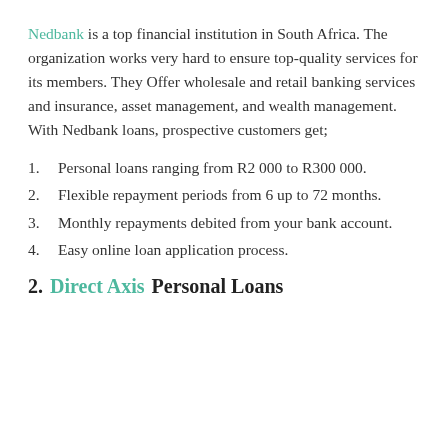Nedbank is a top financial institution in South Africa. The organization works very hard to ensure top-quality services for its members. They Offer wholesale and retail banking services and insurance, asset management, and wealth management. With Nedbank loans, prospective customers get;
Personal loans ranging from R2 000 to R300 000.
Flexible repayment periods from 6 up to 72 months.
Monthly repayments debited from your bank account.
Easy online loan application process.
2. Direct Axis Personal Loans